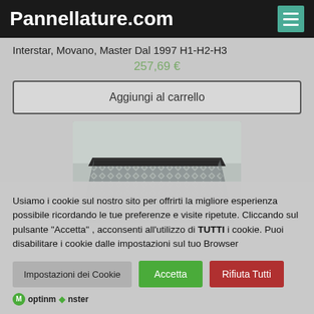Pannellature.com
Interstar, Movano, Master Dal 1997 H1-H2-H3
257,69 €
Aggiungi al carrello
[Figure (photo): Metallic diamond-plate aluminum panel product image, partial view showing top portion of the panel with black rubber edging.]
Usiamo i cookie sul nostro sito per offrirti la migliore esperienza possibile ricordando le tue preferenze e visite ripetute. Cliccando sul pulsante "Accetta" , acconsenti all'utilizzo di TUTTI i cookie. Puoi disabilitare i cookie dalle impostazioni sul tuo Browser
Impostazioni dei Cookie
Accetta
Rifiuta Tutti
optinmonster